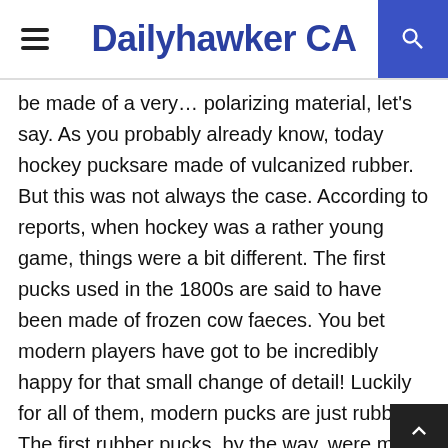Dailyhawker CA
be made of a very… polarizing material, let's say. As you probably already know, today hockey pucksare made of vulcanized rubber. But this was not always the case. According to reports, when hockey was a rather young game, things were a bit different. The first pucks used in the 1800s are said to have been made of frozen cow faeces. You bet modern players have got to be incredibly happy for that small change of detail! Luckily for all of them, modern pucks are just rubber. The first rubber pucks, by the way, were made from sliced up lacrosse balls. Now, of course, it's rubber that is frozen right before the match to prevent them from bouncing during the game.
2. A rather fun pastime is snacking right from the legendary trophy – a champion's snack. As you may know,